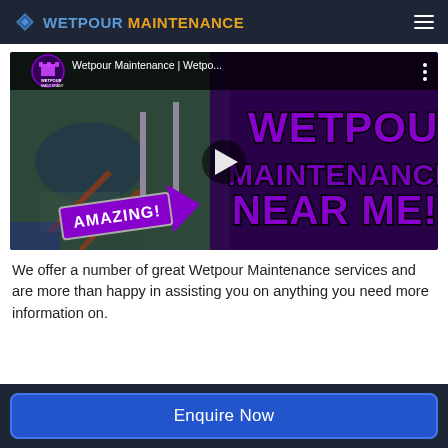WETPOUR MAINTENANCE
[Figure (screenshot): YouTube video thumbnail for 'Wetpour Maintenance | Wetpo...' showing a purple-themed image with text 'WETPOUR MAINTENANCE NEAR ME!' and an 'AMAZING!' arrow sign overlaid on a playground surface.]
We offer a number of great Wetpour Maintenance services and are more than happy in assisting you on anything you need more information on.
Enquire Now